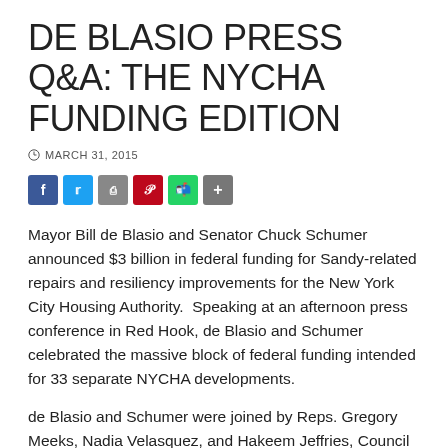DE BLASIO PRESS Q&A: THE NYCHA FUNDING EDITION
MARCH 31, 2015
[Figure (other): Social media sharing buttons: Facebook, Twitter, Print, Pinterest, WhatsApp, More]
Mayor Bill de Blasio and Senator Chuck Schumer announced $3 billion in federal funding for Sandy-related repairs and resiliency improvements for the New York City Housing Authority.  Speaking at an afternoon press conference in Red Hook, de Blasio and Schumer celebrated the massive block of federal funding intended for 33 separate NYCHA developments.
de Blasio and Schumer were joined by Reps. Gregory Meeks, Nadia Velasquez, and Hakeem Jeffries, Council Member Carlos...